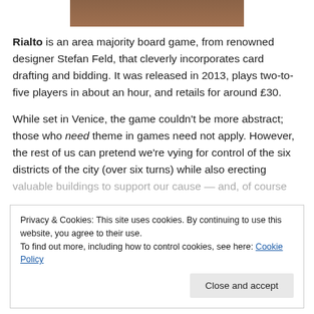[Figure (photo): Partial image of a board game box or component, brown/orange tones, cropped at top]
Rialto is an area majority board game, from renowned designer Stefan Feld, that cleverly incorporates card drafting and bidding. It was released in 2013, plays two-to-five players in about an hour, and retails for around £30.
While set in Venice, the game couldn't be more abstract; those who need theme in games need not apply. However, the rest of us can pretend we're vying for control of the six districts of the city (over six turns) while also erecting valuable buildings to support our cause—and, of course...
Privacy & Cookies: This site uses cookies. By continuing to use this website, you agree to their use.
To find out more, including how to control cookies, see here: Cookie Policy